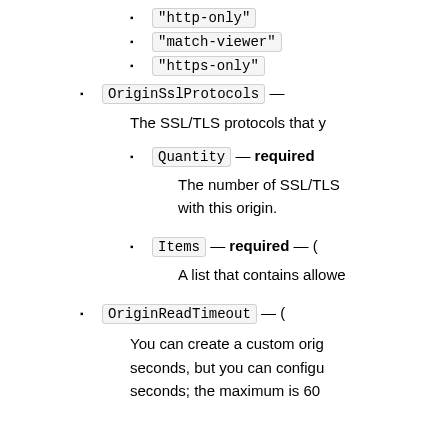"http-only"
"match-viewer"
"https-only"
OriginSslProtocols —
The SSL/TLS protocols that y
Quantity — required
The number of SSL/TLS with this origin.
Items — required — (
A list that contains allowe
OriginReadTimeout — (
You can create a custom orig seconds, but you can configu seconds; the maximum is 60